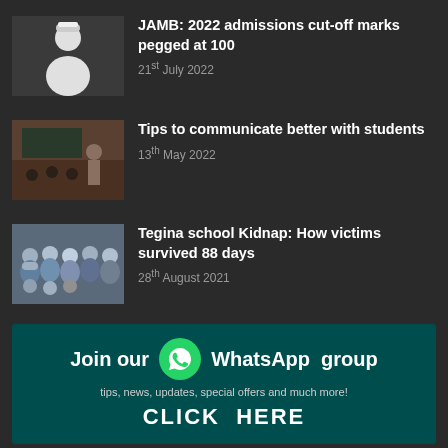[Figure (photo): Thumbnail photo of a man in white traditional attire and cap]
JAMB: 2022 admissions cut-off marks pegged at 100
21st July 2022
[Figure (photo): Thumbnail photo of a classroom with students and a teacher]
Tips to communicate better with students
13th May 2022
[Figure (photo): Thumbnail photo of schoolgirls in blue and white hijabs seated]
Tegina school Kidnap: How victims survived 88 days
28th August 2021
[Figure (infographic): WhatsApp group banner with green WhatsApp logo icon, text: Join our WhatsApp group, tips, news, updates, special offers and much more!, CLICK HERE]